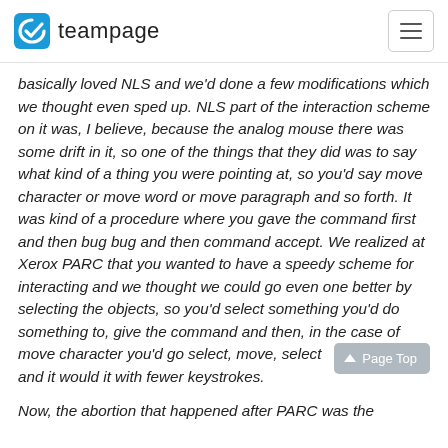teampage
basically loved NLS and we'd done a few modifications which we thought even sped up. NLS part of the interaction scheme on it was, I believe, because the analog mouse there was some drift in it, so one of the things that they did was to say what kind of a thing you were pointing at, so you'd say move character or move word or move paragraph and so forth. It was kind of a procedure where you gave the command first and then bug bug and then command accept. We realized at Xerox PARC that you wanted to have a speedy scheme for interacting and we thought we could go even one better by selecting the objects, so you'd select something you'd do something to, give the command and then, in the case of move character you'd go select, move, select and it would it with fewer keystrokes.
Now, the abortion that happened after PARC was the